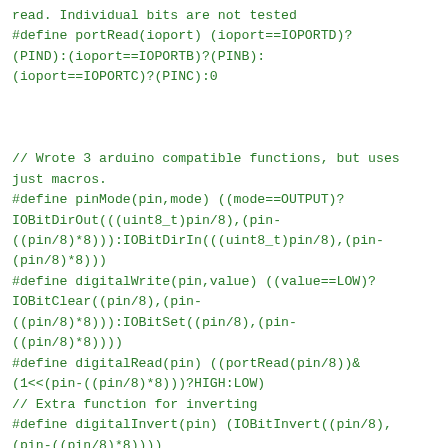read. Individual bits are not tested
#define portRead(ioport) (ioport==IOPORTD)?(PIND):(ioport==IOPORTB)?(PINB):(ioport==IOPORTC)?(PINC):0


// Wrote 3 arduino compatible functions, but uses just macros.
#define pinMode(pin,mode) ((mode==OUTPUT)?IOBitDirOut(((uint8_t)pin/8),(pin-((pin/8)*8))):IOBitDirIn(((uint8_t)pin/8),(pin-(pin/8)*8)))
#define digitalWrite(pin,value) ((value==LOW)?IOBitClear((pin/8),(pin-((pin/8)*8))):IOBitSet((pin/8),(pin-((pin/8)*8))))
#define digitalRead(pin) ((portRead(pin/8))&(1<<(pin-((pin/8)*8)))?HIGH:LOW)
// Extra function for inverting
#define digitalInvert(pin) (IOBitInvert((pin/8),(pin-((pin/8)*8))))